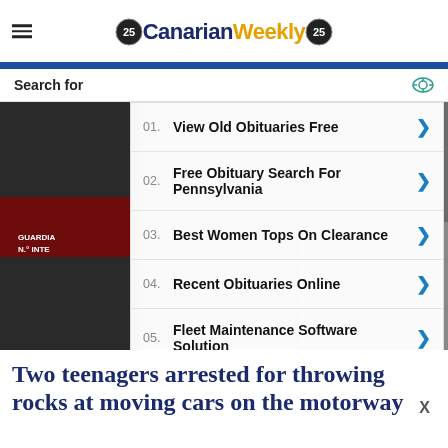Canarian Weekly
[Figure (screenshot): Yahoo sponsored search ad overlay showing 5 search result items: 01. View Old Obituaries Free, 02. Free Obituary Search For Pennsylvania, 03. Best Women Tops On Clearance, 04. Recent Obituaries Online, 05. Fleet Maintenance Software Solution. Footer: Yahoo! Search | Sponsored]
[Figure (photo): Background photo showing Guardia Civil vehicle and person on left, cargo/luggage on right]
Two teenagers arrested for throwing rocks at moving cars on the motorway